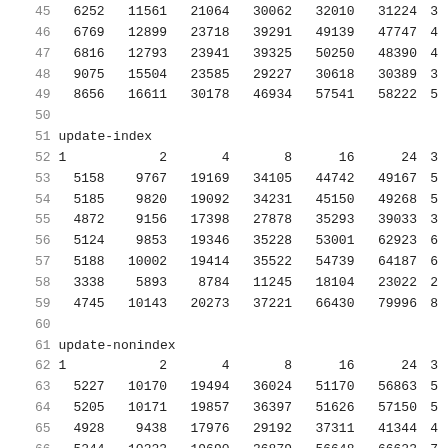| line | 1 | 2 | 4 | 8 | 16 | 24 | 3... |
| --- | --- | --- | --- | --- | --- | --- | --- |
| 45 | 6252 | 11561 | 21064 | 30062 | 32010 | 31224 | 3 |
| 46 | 6769 | 12899 | 23718 | 39291 | 49139 | 47747 | 4 |
| 47 | 6816 | 12793 | 23941 | 39325 | 50250 | 48390 | 4 |
| 48 | 9075 | 15504 | 23585 | 29227 | 30618 | 30389 | 3 |
| 49 | 8656 | 16611 | 30178 | 46934 | 57541 | 58222 | 5 |
| 50 |  |  |  |  |  |  |  |
| 51 | update-index |  |  |  |  |  |  |
| 52 | 1 | 2 | 4 | 8 | 16 | 24 | 3 |
| 53 | 5158 | 9767 | 19169 | 34105 | 44742 | 49167 | 5 |
| 54 | 5185 | 9820 | 19092 | 34231 | 45150 | 49268 | 5 |
| 55 | 4872 | 9156 | 17398 | 27878 | 35293 | 39033 | 3 |
| 56 | 5124 | 9853 | 19346 | 35228 | 53001 | 62923 | 6 |
| 57 | 5188 | 10002 | 19414 | 35522 | 54739 | 64187 | 6 |
| 58 | 3338 | 5893 | 8784 | 11245 | 18104 | 23022 | 2 |
| 59 | 4745 | 10143 | 20273 | 37221 | 66430 | 79996 | 8 |
| 60 |  |  |  |  |  |  |  |
| 61 | update-nonindex |  |  |  |  |  |  |
| 62 | 1 | 2 | 4 | 8 | 16 | 24 | 3 |
| 63 | 5227 | 10170 | 19494 | 36024 | 51170 | 56863 | 5 |
| 64 | 5205 | 10171 | 19857 | 36397 | 51626 | 57150 | 5 |
| 65 | 4928 | 9438 | 17976 | 29192 | 37311 | 41344 | 4 |
| 66 | 5244 | 10223 | 19690 | 36879 | 56648 | 66623 | 7 |
| 67 | 5216 | 10223 | 19851 | 36865 | 57521 | 67115 | 7 |